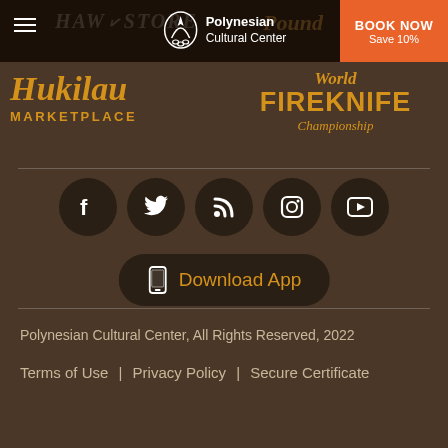[Figure (screenshot): Website header with Polynesian Cultural Center logo, hamburger menu, and orange Book Now button with Save 10% text. Background shows faded text 'Haw Store' and 'Pound'.]
[Figure (logo): Hukilau Marketplace logo in gold/orange script with MARKETPLACE in bold capitals below]
[Figure (logo): World Fireknife Championship logo in gold/orange with decorative font]
[Figure (infographic): Row of 5 social media icons (Facebook, Twitter, RSS, Instagram, YouTube) as white icons on dark circular backgrounds, and Download App button]
Polynesian Cultural Center, All Rights Reserved, 2022
Terms of Use | Privacy Policy | Secure Certificate